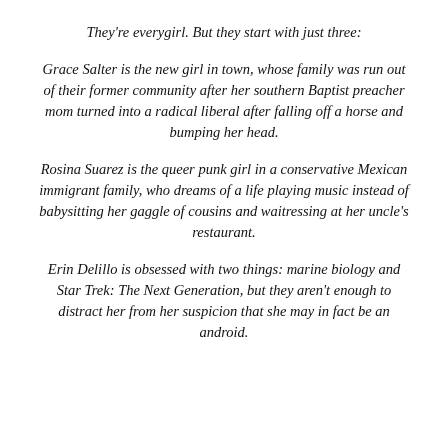They're everygirl. But they start with just three:
Grace Salter is the new girl in town, whose family was run out of their former community after her southern Baptist preacher mom turned into a radical liberal after falling off a horse and bumping her head.
Rosina Suarez is the queer punk girl in a conservative Mexican immigrant family, who dreams of a life playing music instead of babysitting her gaggle of cousins and waitressing at her uncle's restaurant.
Erin Delillo is obsessed with two things: marine biology and Star Trek: The Next Generation, but they aren't enough to distract her from her suspicion that she may in fact be an android.